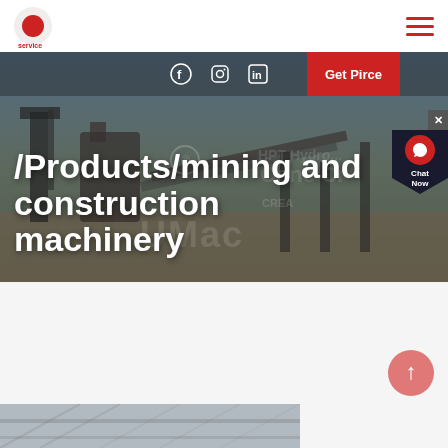service [logo]
[Figure (screenshot): Hero image of mining and construction machinery site with industrial equipment, conveyors, and cranes under blue sky. Overlay text shows breadcrumb navigation and title.]
/Products/mining and construction machinery
[Figure (screenshot): Bottom strip showing partial image of industrial/construction interior structure.]